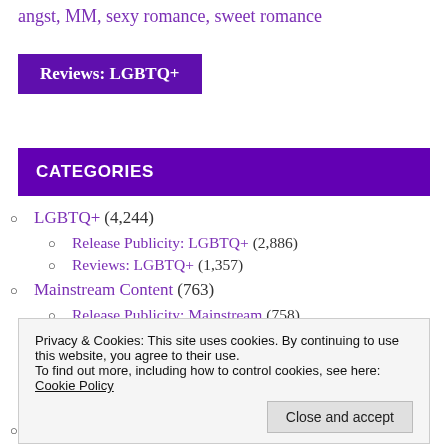angst, MM, sexy romance, sweet romance
Reviews: LGBTQ+
CATEGORIES
LGBTQ+ (4,244)
Release Publicity: LGBTQ+ (2,886)
Reviews: LGBTQ+ (1,357)
Mainstream Content (763)
Release Publicity: Mainstream (758)
Privacy & Cookies: This site uses cookies. By continuing to use this website, you agree to their use.
To find out more, including how to control cookies, see here:
Cookie Policy
Other Blogs (15)